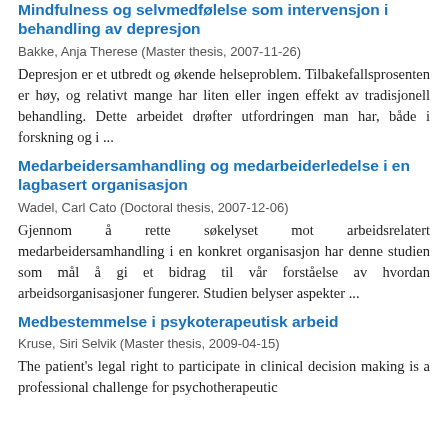Mindfulness og selvmedfølelse som intervensjon i behandling av depresjon
Bakke, Anja Therese (Master thesis, 2007-11-26)
Depresjon er et utbredt og økende helseproblem. Tilbakefallsprosenten er høy, og relativt mange har liten eller ingen effekt av tradisjonell behandling. Dette arbeidet drøfter utfordringen man har, både i forskning og i ...
Medarbeidersamhandling og medarbeiderledelse i en lagbasert organisasjon
Wadel, Carl Cato (Doctoral thesis, 2007-12-06)
Gjennom å rette søkelyset mot arbeidsrelatert medarbeidersamhandling i en konkret organisasjon har denne studien som mål å gi et bidrag til vår forståelse av hvordan arbeidsorganisasjoner fungerer. Studien belyser aspekter ...
Medbestemmelse i psykoterapeutisk arbeid
Kruse, Siri Selvik (Master thesis, 2009-04-15)
The patient's legal right to participate in clinical decision making is a professional challenge for psychotherapeutic